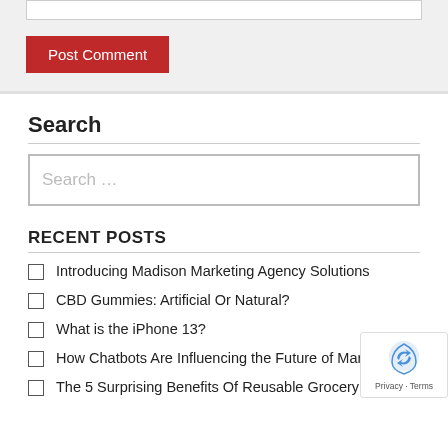[Figure (screenshot): Top portion showing a form area with a text input box and a red 'Post Comment' button on a light grey background]
Search
[Figure (screenshot): Search input field with placeholder text 'Search ...' inside a grey-bordered box]
RECENT POSTS
Introducing Madison Marketing Agency Solutions
CBD Gummies: Artificial Or Natural?
What is the iPhone 13?
How Chatbots Are Influencing the Future of Marketing
The 5 Surprising Benefits Of Reusable Grocery Bags